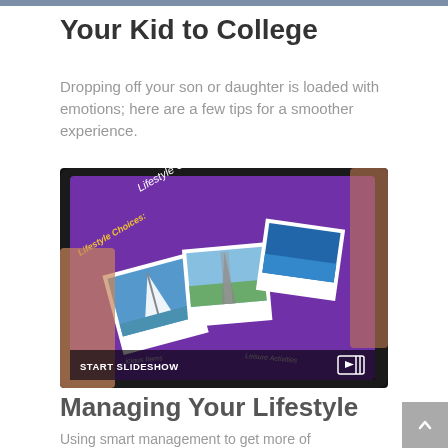Your Kid to College
Dropping off your son or daughter is loaded with emotions; here are a few tips for a smoother experience.
[Figure (photo): Person holding a tablet showing a purple slideshow screen titled 'Lifestyle Choices: Luxury & Leisure' with polaroid photos of a sailboat and the Eiffel Tower. A 'START SLIDESHOW' bar appears at the bottom of the image.]
Managing Your Lifestyle
Using smart management to get more of